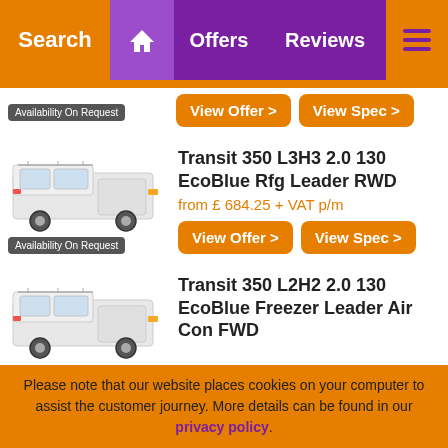Search | Home | Offers | Reviews | Menu
[Figure (photo): White Ford Transit van - top listing partially visible]
Availability On Request
View Offer > | View Spec >
[Figure (photo): White Ford Transit van - Transit 350 L3H3 2.0 130 EcoBlue Rfg Leader RWD]
Availability On Request
Transit 350 L3H3 2.0 130 EcoBlue Rfg Leader RWD
from £ 684.25 + VAT p/m
View Offer > | View Spec >
[Figure (photo): White Ford Transit van - Transit 350 L2H2 2.0 130 EcoBlue Freezer Leader Air Con FWD]
Transit 350 L2H2 2.0 130 EcoBlue Freezer Leader Air Con FWD
Please note that our website places cookies on your computer to assist the customer journey. More details can be found in our privacy policy.